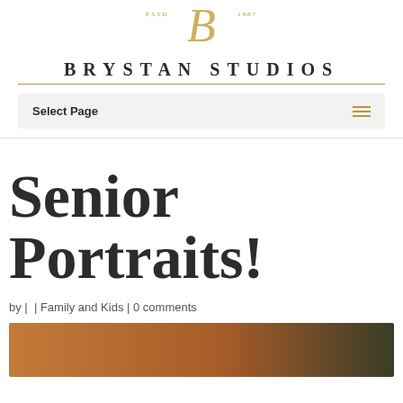[Figure (logo): Brystan Studios logo with cursive B, ESTD 1987, and studio name in serif bold capitals with gold horizontal rule]
Select Page
Senior Portraits!
by |  | Family and Kids | 0 comments
[Figure (photo): Partial photo showing warm orange/brown textured fabric or clothing]